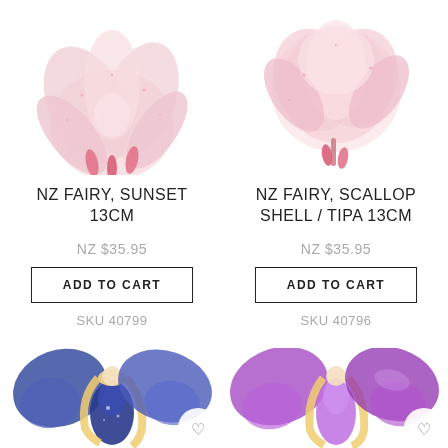[Figure (photo): Top portion of a pink fairy flower figurine, cropped, showing feathery pink petals and small pink buds - left product]
NZ FAIRY, SUNSET 13CM
NZ $35.95
ADD TO CART
SKU 40799
[Figure (photo): Top portion of a pink fairy flower figurine, cropped, showing fluffy pink petals and pink buds - right product]
NZ FAIRY, SCALLOP SHELL / TIPA 13CM
NZ $35.95
ADD TO CART
SKU 40796
[Figure (photo): Bottom portion of a fairy figurine with blue/purple cosmic wings and long blonde hair - left product, partially cropped]
[Figure (photo): Bottom portion of a fairy figurine with purple/pink wings and long blonde hair - right product, partially cropped]